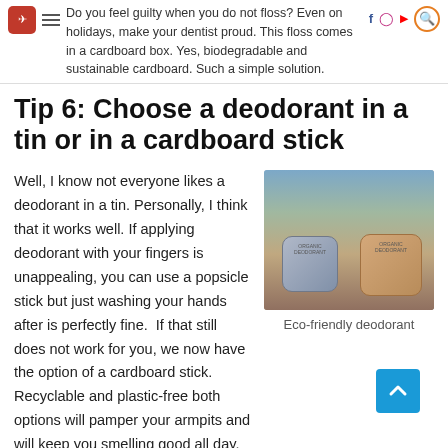Do you feel guilty when you do not floss? Even on holidays, make your dentist proud. This floss comes in a cardboard box. Yes, biodegradable and sustainable cardboard. Such a simple solution.
Tip 6: Choose a deodorant in a tin or in a cardboard stick
Well, I know not everyone likes a deodorant in a tin. Personally, I think that it works well. If applying deodorant with your fingers is unappealing, you can use a popsicle stick but just washing your hands after is perfectly fine.  If that still does not work for you, we now have the option of a cardboard stick. Recyclable and plastic-free both options will pamper your armpits and will keep you smelling good all day. Check it out here.
[Figure (photo): Two eco-friendly deodorant tins in cardboard/metal packaging sitting on sandy ground with rocks and palm trees in background. One tin is grey-blue, one is brown/kraft colored.]
Eco-friendly deodorant
Tip 7: Never la...